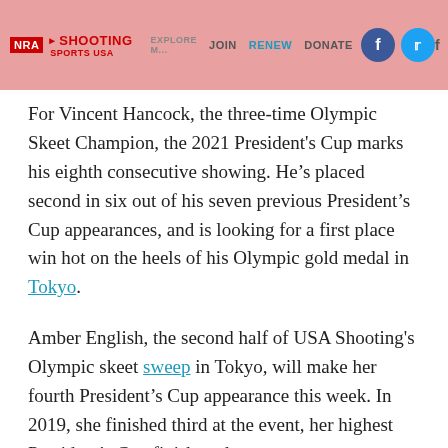NRA EXPLORE | JOIN | RENEW | DONATE | NRA Shooting Sports USA
For Vincent Hancock, the three-time Olympic Skeet Champion, the 2021 President's Cup marks his eighth consecutive showing. He’s placed second in six out of his seven previous President’s Cup appearances, and is looking for a first place win hot on the heels of his Olympic gold medal in Tokyo.
Amber English, the second half of USA Shooting's Olympic skeet sweep in Tokyo, will make her fourth President’s Cup appearance this week. In 2019, she finished third at the event, her highest President’s Cup finish to date.
Kayle Browning, who finished sixth at the ISSF